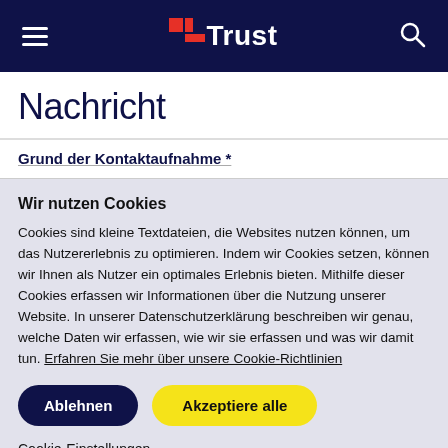Trust (logo with hamburger menu and search icon)
Nachricht
Grund der Kontaktaufnahme *
Wir nutzen Cookies
Cookies sind kleine Textdateien, die Websites nutzen können, um das Nutzererlebnis zu optimieren. Indem wir Cookies setzen, können wir Ihnen als Nutzer ein optimales Erlebnis bieten. Mithilfe dieser Cookies erfassen wir Informationen über die Nutzung unserer Website. In unserer Datenschutzerklärung beschreiben wir genau, welche Daten wir erfassen, wie wir sie erfassen und was wir damit tun. Erfahren Sie mehr über unsere Cookie-Richtlinien
Ablehnen | Akzeptiere alle
Cookie-Einstellungen